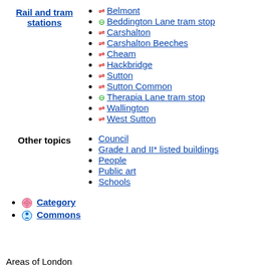Rail and tram stations
Belmont
Beddington Lane tram stop
Carshalton
Carshalton Beeches
Cheam
Hackbridge
Sutton
Sutton Common
Therapia Lane tram stop
Wallington
West Sutton
Other topics
Council
Grade I and II* listed buildings
People
Public art
Schools
Category
Commons
Areas of London